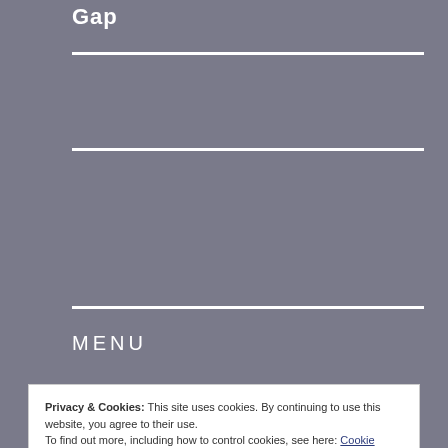Gap
MENU
Privacy & Cookies: This site uses cookies. By continuing to use this website, you agree to their use.
To find out more, including how to control cookies, see here: Cookie Policy
Close and accept